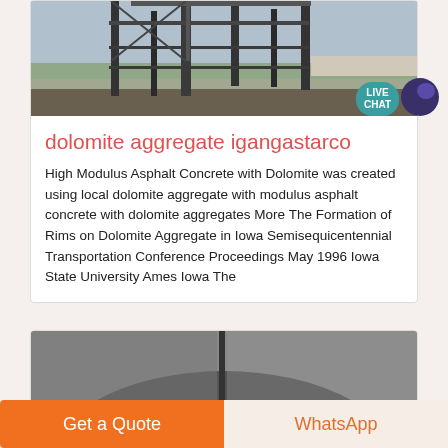[Figure (photo): Industrial/construction site photo showing metal scaffolding or equipment structure, partially obscured, with sky and a flat landscape visible in the background.]
dolomite aggregate igangastarco
High Modulus Asphalt Concrete with Dolomite was created using local dolomite aggregate with modulus asphalt concrete with dolomite aggregates More The Formation of Rims on Dolomite Aggregate in Iowa Semisequicentennial Transportation Conference Proceedings May 1996 Iowa State University Ames Iowa The
[Figure (photo): Partial view of a dark grey curved surface, possibly a road or product, with a dark vertical mark.]
Get a Quote
WhatsApp